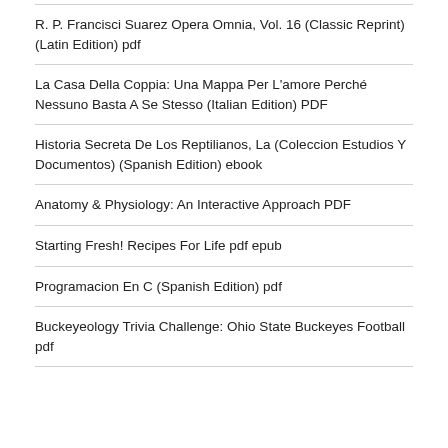R. P. Francisci Suarez Opera Omnia, Vol. 16 (Classic Reprint) (Latin Edition) pdf
La Casa Della Coppia: Una Mappa Per L’amore Perché Nessuno Basta A Se Stesso (Italian Edition) PDF
Historia Secreta De Los Reptilianos, La (Coleccion Estudios Y Documentos) (Spanish Edition) ebook
Anatomy & Physiology: An Interactive Approach PDF
Starting Fresh! Recipes For Life pdf epub
Programacion En C (Spanish Edition) pdf
Buckeyeology Trivia Challenge: Ohio State Buckeyes Football pdf